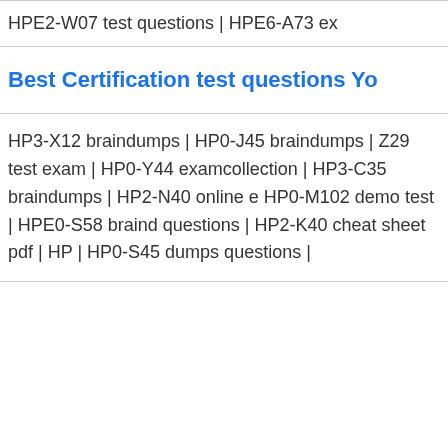HPE2-W07 test questions | HPE6-A73 ex…
Best Certification test questions Yo…
HP3-X12 braindumps | HP0-J45 braindumps | Z29 test exam | HP0-Y44 examcollection | HP3-C35 braindumps | HP2-N40 online exam | HP0-M102 demo test | HPE0-S58 braindumps questions | HP2-K40 cheat sheet pdf | HP… | HP0-S45 dumps questions |